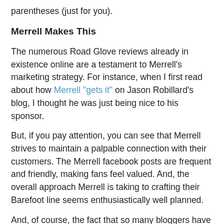parentheses (just for you).
Merrell Makes This
The numerous Road Glove reviews already in existence online are a testament to Merrell's marketing strategy. For instance, when I first read about how Merrell "gets it" on Jason Robillard's blog, I thought he was just being nice to his sponsor.
But, if you pay attention, you can see that Merrell strives to maintain a palpable connection with their customers. The Merrell facebook posts are frequent and friendly, making fans feel valued. And, the overall approach Merrell is taking to crafting their Barefoot line seems enthusiastically well planned.
And, of course, the fact that so many bloggers have already reviewed the Road Glove at least once indicates to me just how much value Merrell attributes to virtual-word-of-mouth marketing, so to speak.
With that kind of attention to quality and grass roots